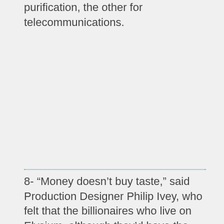7- The space station has two inner rings: one for air purification, the other for telecommunications.
8- “Money doesn’t buy taste,” said Production Designer Philip Ivey, who felt that the billionaires who live on Elysium, although they’d have the money to get whatever they want to put their personal “stamp” on their mansions,